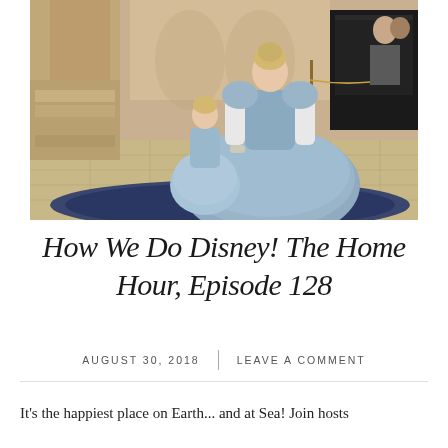[Figure (photo): Photo of a young girl dressed as Cinderella posing with a Cinderella character actor in a ballroom/hotel lobby setting. Both wearing matching light blue dresses. Grand piano and ornate architecture visible in background.]
How We Do Disney! The Home Hour, Episode 128
AUGUST 30, 2018   |   LEAVE A COMMENT
It's the happiest place on Earth... and at Sea! Join hosts